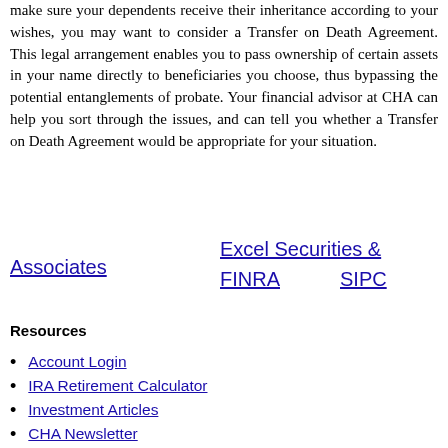make sure your dependents receive their inheritance according to your wishes, you may want to consider a Transfer on Death Agreement. This legal arrangement enables you to pass ownership of certain assets in your name directly to beneficiaries you choose, thus bypassing the potential entanglements of probate. Your financial advisor at CHA can help you sort through the issues, and can tell you whether a Transfer on Death Agreement would be appropriate for your situation.
Associates   Excel Securities & FINRA   SIPC
Resources
Account Login
IRA Retirement Calculator
Investment Articles
CHA Newsletter
Prospectus Download
Client Relationship Summary